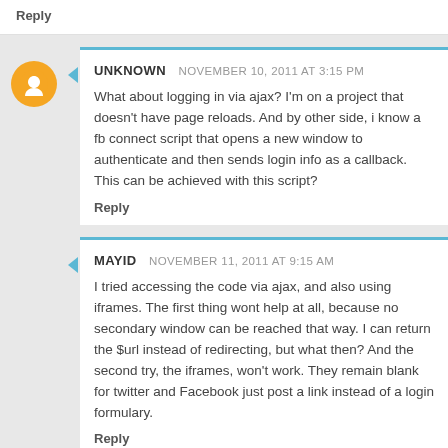Reply
UNKNOWN  NOVEMBER 10, 2011 AT 3:15 PM
What about logging in via ajax? I'm on a project that doesn't have page reloads. And by other side, i know a fb connect script that opens a new window to authenticate and then sends login info as a callback. This can be achieved with this script?
Reply
MAYID  NOVEMBER 11, 2011 AT 9:15 AM
I tried accessing the code via ajax, and also using iframes. The first thing wont help at all, because no secondary window can be reached that way. I can return the $url instead of redirecting, but what then? And the second try, the iframes, won't work. They remain blank for twitter and Facebook just post a link instead of a login formulary.
Reply